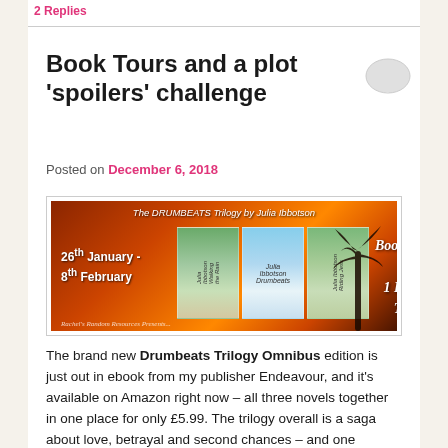2 Replies
Book Tours and a plot 'spoilers' challenge
Posted on December 6, 2018
[Figure (photo): Banner image for The DRUMBEATS Trilogy by Julia Ibbotson blog tour. Shows three book covers against a dramatic sunset background with a palm tree silhouette. Text reads: 26th January - 8th February, 3 Books... 1 Blog Tour. Rachel's Random Resources Presents...]
The brand new Drumbeats Trilogy Omnibus edition is just out in ebook from my publisher Endeavour, and it's available on Amazon right now – all three novels together in one place for only £5.99. The trilogy overall is a saga about love, betrayal and second chances – and one woman's search for the strength to rise above adversity